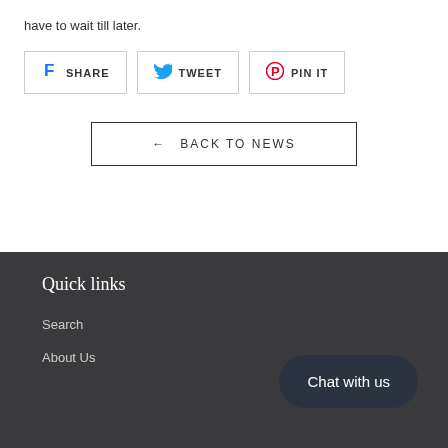have to wait till later.
SHARE | TWEET | PIN IT
← BACK TO NEWS
Quick links
Search
About Us
Chat with us